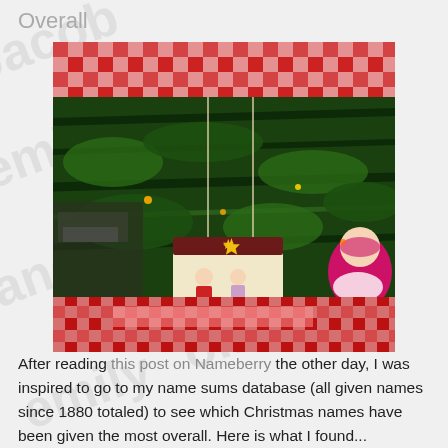Overall
[Figure (photo): A Christmas tree ornament showing two small angel/nativity figures on a rectangular plaque, hanging among green pine branches, red and white plaid ribbon, and other decorations including a pink Santa figure.]
After reading this post on Nameberry the other day, I was inspired to go to my name sums database (all given names since 1880 totaled) to see which Christmas names have been given the most overall. Here is what I found...